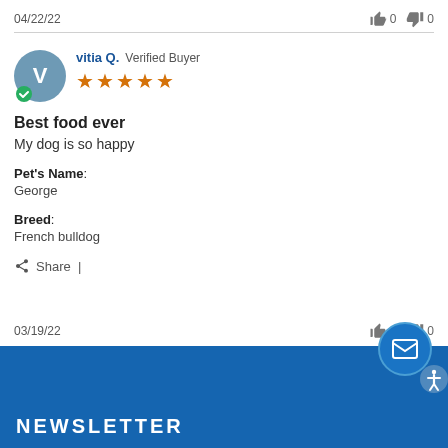04/22/22
👍 0  👎 0
vitia Q. Verified Buyer ★★★★★
Best food ever
My dog is so happy
Pet's Name:
George
Breed:
French bulldog
Share |
03/19/22
👍 0  👎 0
NEWSLETTER